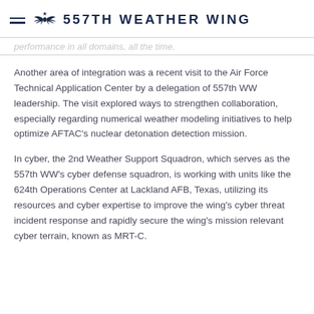557TH WEATHER WING
...performance in all domains, all the time.
Another area of integration was a recent visit to the Air Force Technical Application Center by a delegation of 557th WW leadership. The visit explored ways to strengthen collaboration, especially regarding numerical weather modeling initiatives to help optimize AFTAC’s nuclear detonation detection mission.
In cyber, the 2nd Weather Support Squadron, which serves as the 557th WW’s cyber defense squadron, is working with units like the 624th Operations Center at Lackland AFB, Texas, utilizing its resources and cyber expertise to improve the wing’s cyber threat incident response and rapidly secure the wing’s mission relevant cyber terrain, known as MRT-C.